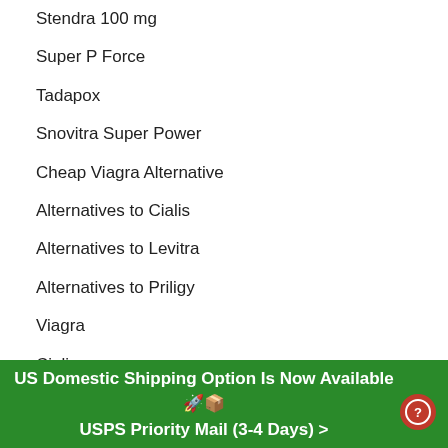Stendra 100 mg
Super P Force
Tadapox
Snovitra Super Power
Cheap Viagra Alternative
Alternatives to Cialis
Alternatives to Levitra
Alternatives to Priligy
Viagra
Cialis
Levitra
Kamagra
Sildenafil
US Domestic Shipping Option Is Now Available 🚀📦 USPS Priority Mail (3-4 Days) >